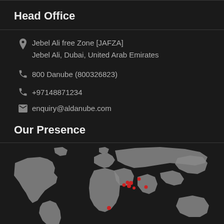Head Office
Jebel Ali free Zone [JAFZA]
Jebel Ali, Dubai, United Arab Emirates
800 Danube (800326823)
+97148871234
enquiry@aldanube.com
Our Presence
[Figure (map): World map in grey on dark background with red location pins marking presence in the Middle East and surrounding regions]